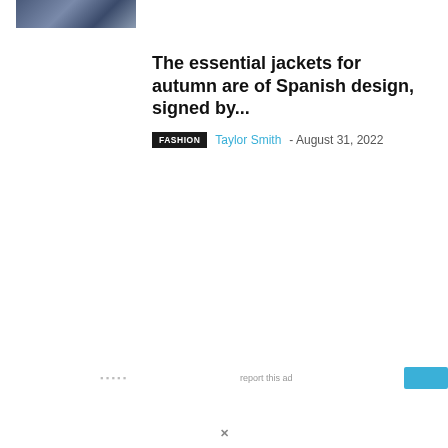[Figure (photo): Small thumbnail image showing people, partially visible at top left corner]
The essential jackets for autumn are of Spanish design, signed by...
FASHION  Taylor Smith - August 31, 2022
report this ad